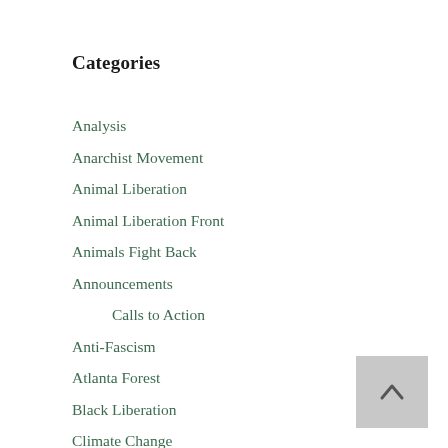Categories
Analysis
Anarchist Movement
Animal Liberation
Animal Liberation Front
Animals Fight Back
Announcements
Calls to Action
Anti-Fascism
Atlanta Forest
Black Liberation
Climate Change
Direct Action
Armed Struggle